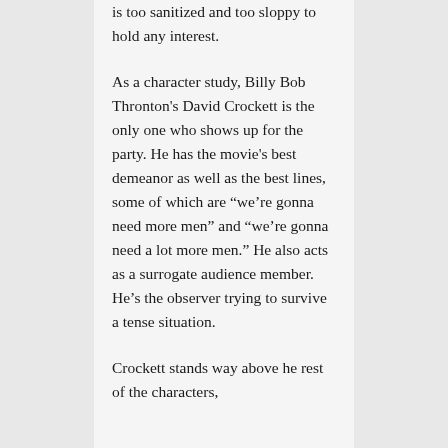is too sanitized and too sloppy to hold any interest.
As a character study, Billy Bob Thronton's David Crockett is the only one who shows up for the party. He has the movie's best demeanor as well as the best lines, some of which are “we’re gonna need more men” and “we’re gonna need a lot more men.” He also acts as a surrogate audience member. He’s the observer trying to survive a tense situation.
Crockett stands way above he rest of the characters,